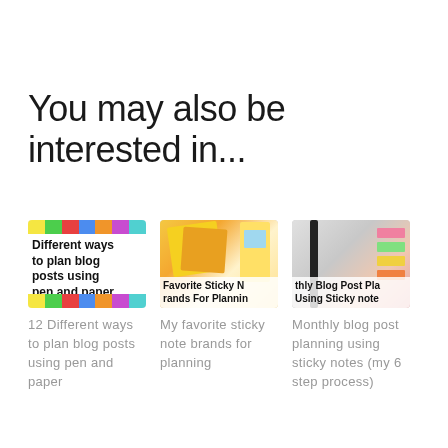You may also be interested in...
[Figure (photo): Thumbnail image with colorful diagonal stripes at top and bottom, text overlay reading 'Different ways to plan blog posts using pen and paper']
12 Different ways to plan blog posts using pen and paper
[Figure (photo): Thumbnail image of sticky note pads in yellow and orange stacked, with text overlay 'Favorite Sticky Note Brands For Planning']
My favorite sticky note brands for planning
[Figure (photo): Thumbnail image of a planner with colorful sticky note tabs, text overlay 'Monthly Blog Post Planning Using Sticky notes']
Monthly blog post planning using sticky notes (my 6 step process)